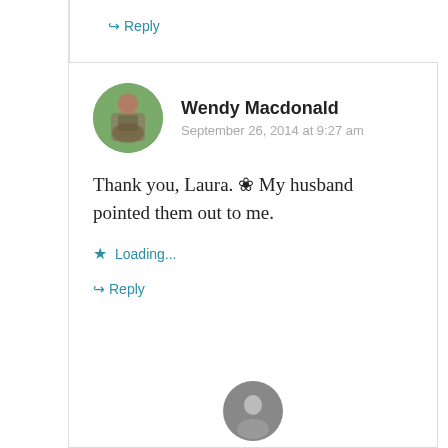↪ Reply
Wendy Macdonald
September 26, 2014 at 9:27 am
Thank you, Laura. ✿ My husband pointed them out to me.
★ Loading...
↪ Reply